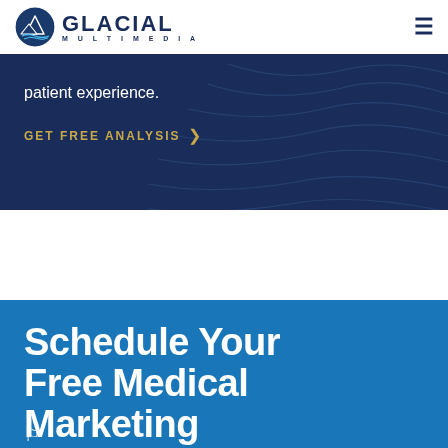GLACIAL MULTIMEDIA
patient experience.
GET FREE ANALYSIS >
Schedule Your Free Medical Marketing Assessment Today!